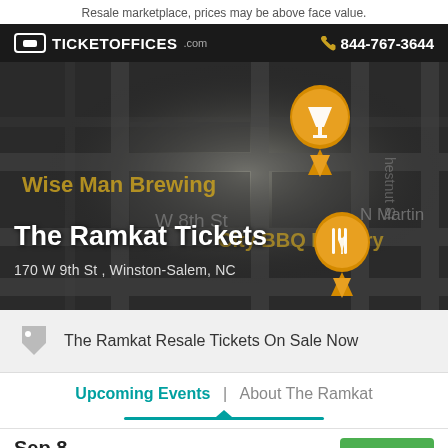Resale marketplace, prices may be above face value.
TICKETOFFICES .com   844-767-3644
[Figure (map): Street map showing location of The Ramkat venue near W 8th St, Wise Man Brewing, City BBQ Factory, and N Martin St in Winston-Salem, NC. An orange map pin marker is visible.]
The Ramkat Tickets
170 W 9th St , Winston-Salem, NC
The Ramkat Resale Tickets On Sale Now
Upcoming Events  |  About The Ramkat
Sep 8
Thu 8:00 PM
The Fundamentals
Tickets >>